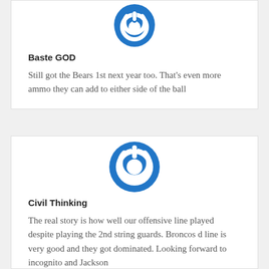[Figure (logo): Blue power button icon (circle with power symbol) for user Baste GOD]
Baste GOD
Still got the Bears 1st next year too. That's even more ammo they can add to either side of the ball
[Figure (logo): Blue power button icon (circle with power symbol) for user Civil Thinking]
Civil Thinking
The real story is how well our offensive line played despite playing the 2nd string guards. Broncos d line is very good and they got dominated. Looking forward to incognito and Jackson